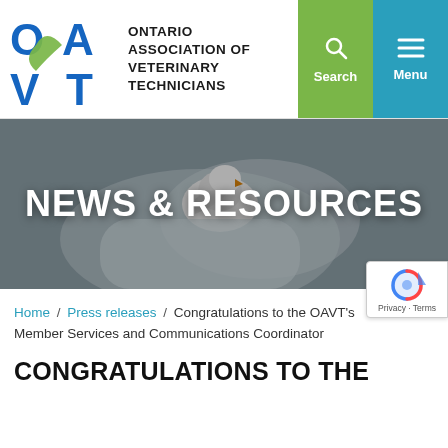ONTARIO ASSOCIATION OF VETERINARY TECHNICIANS
[Figure (logo): OAVT logo - blue letters OA VT with green heart/bird shape]
[Figure (photo): Close-up photo of gloved hands holding a white bird (cockatiel/parrot) for veterinary examination, used as hero banner background]
NEWS & RESOURCES
Home / Press releases / Congratulations to the OAVT's Member Services and Communications Coordinator
CONGRATULATIONS TO THE